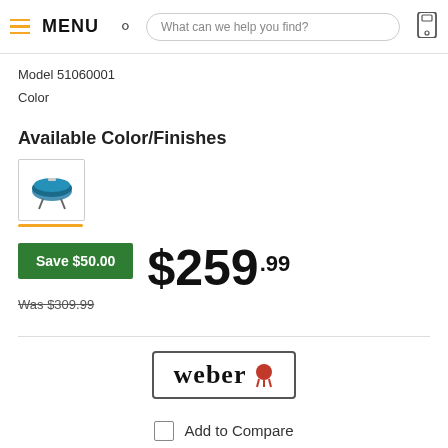MENU | What can we help you find?
Model 51060001
Color
Available Color/Finishes
[Figure (photo): Color swatch thumbnail showing a small blue Weber grill on white background, with yellow underline indicating selected color]
Save $50.00
$259.99
Was $309.99
[Figure (logo): Weber logo in bordered rectangle with red grill figure]
Add to Compare